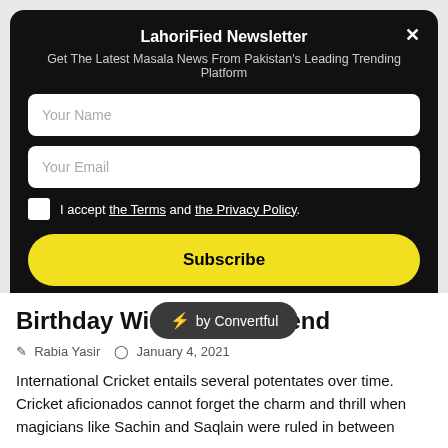LahoriFied Newsletter
Get The Latest Masala News From Pakistan's Leading Trending Platform
Your Name
Your Email
I accept the Terms and the Privacy Policy.
Subscribe
Birthday Wishes To Legend
Rabia Yasir   January 4, 2021
International Cricket entails several potentates over time. Cricket aficionados cannot forget the charm and thrill when magicians like Sachin and Saqlain were ruled in between